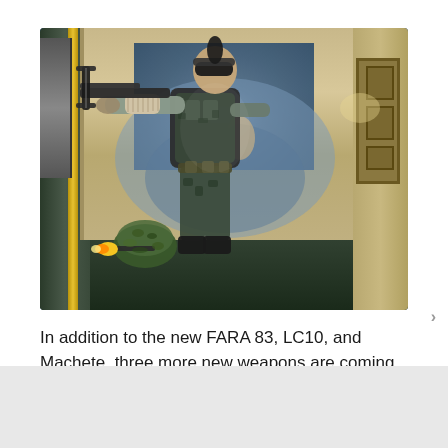[Figure (photo): Screenshot from a video game (Call of Duty: Black Ops Cold War) showing a soldier wearing a mask and aiming a crossbow. Another player in ghillie suit crouches in the background with a muzzle flash. The setting appears to be an ornate indoor/outdoor area with classical architecture and a painted mural on the wall.]
In addition to the new FARA 83, LC10, and Machete, three more new weapons are coming to Multiplayer throughout Season Two: the R1 Shadowhunter crossbow, ZRG 20mm sniper rifle, and E-Tool melee weapon. With a